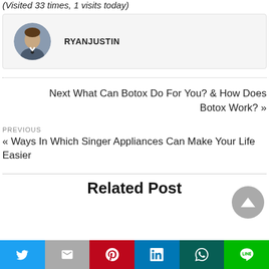(Visited 33 times, 1 visits today)
RYANJUSTIN
Next What Can Botox Do For You? & How Does Botox Work? »
PREVIOUS
« Ways In Which Singer Appliances Can Make Your Life Easier
Related Post
[Figure (other): Social share bar with Twitter, Gmail, Pinterest, LinkedIn, WhatsApp, and LINE buttons]